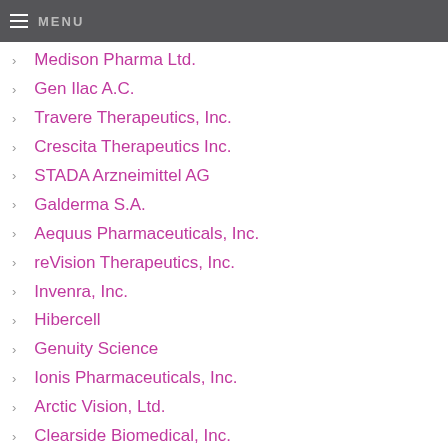MENU
Medison Pharma Ltd.
Gen Ilac A.C.
Travere Therapeutics, Inc.
Crescita Therapeutics Inc.
STADA Arzneimittel AG
Galderma S.A.
Aequus Pharmaceuticals, Inc.
reVision Therapeutics, Inc.
Invenra, Inc.
Hibercell
Genuity Science
Ionis Pharmaceuticals, Inc.
Arctic Vision, Ltd.
Clearside Biomedical, Inc.
Nimbus Therapeutics, Inc.
Schrodinger, Inc.